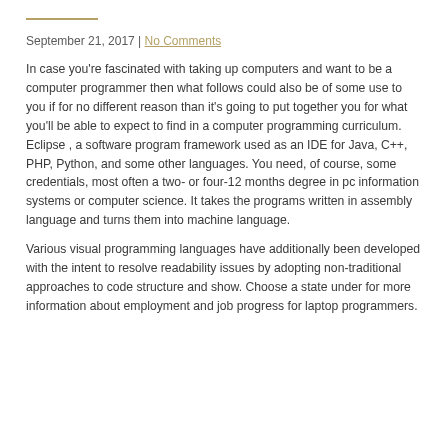September 21, 2017 | No Comments
In case you're fascinated with taking up computers and want to be a computer programmer then what follows could also be of some use to you if for no different reason than it's going to put together you for what you'll be able to expect to find in a computer programming curriculum. Eclipse , a software program framework used as an IDE for Java, C++, PHP, Python, and some other languages. You need, of course, some credentials, most often a two- or four-12 months degree in pc information systems or computer science. It takes the programs written in assembly language and turns them into machine language.
Various visual programming languages have additionally been developed with the intent to resolve readability issues by adopting non-traditional approaches to code structure and show. Choose a state under for more information about employment and job progress for laptop programmers.